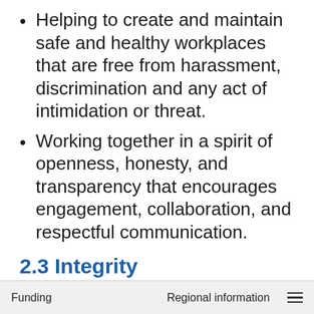Helping to create and maintain safe and healthy workplaces that are free from harassment, discrimination and any act of intimidation or threat.
Working together in a spirit of openness, honesty, and transparency that encourages engagement, collaboration, and respectful communication.
2.3 Integrity
Integrity is the cornerstone of good governance and democracy. By upholding the highest ethical standards, public servants
Funding    Regional information